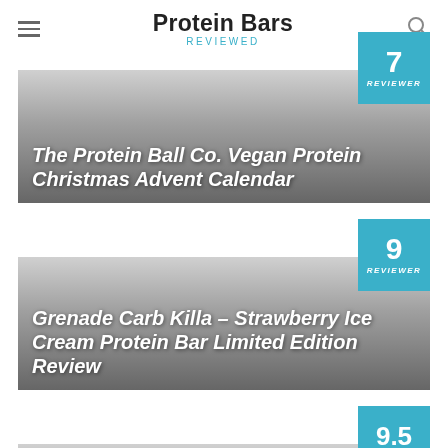Protein Bars Reviewed
[Figure (screenshot): Card for 'The Protein Ball Co. Vegan Protein Christmas Advent Calendar' with score badge 7 REVIEWER]
The Protein Ball Co. Vegan Protein Christmas Advent Calendar
[Figure (screenshot): Card for 'Grenade Carb Killa - Strawberry Ice Cream Protein Bar Limited Edition Review' with score badge 9 REVIEWER]
Grenade Carb Killa - Strawberry Ice Cream Protein Bar Limited Edition Review
[Figure (screenshot): Partial card with score badge 9.5 REVIEWER]